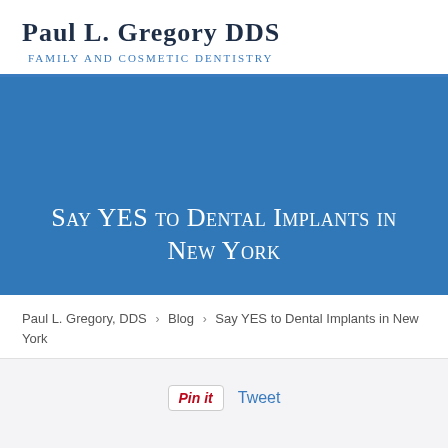Paul L. Gregory DDS
Family and Cosmetic Dentistry
[Figure (other): Blue banner background with large white small-caps heading: Say YES to Dental Implants in New York]
Say YES to Dental Implants in New York
Paul L. Gregory, DDS > Blog > Say YES to Dental Implants in New York
Pin it   Tweet